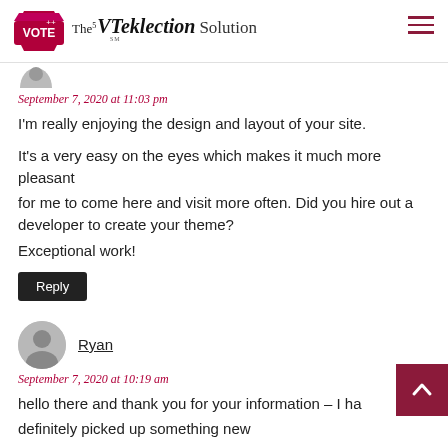[Figure (logo): The VTeklection Solution logo with red vote badge on left and hamburger menu icon on right]
September 7, 2020 at 11:03 pm
I'm really enjoying the design and layout of your site.

It's a very easy on the eyes which makes it much more pleasant for me to come here and visit more often. Did you hire out a developer to create your theme? Exceptional work!
Reply
Ryan
September 7, 2020 at 10:19 am
hello there and thank you for your information – I ha definitely picked up something new from right here. I did however expertise several technical